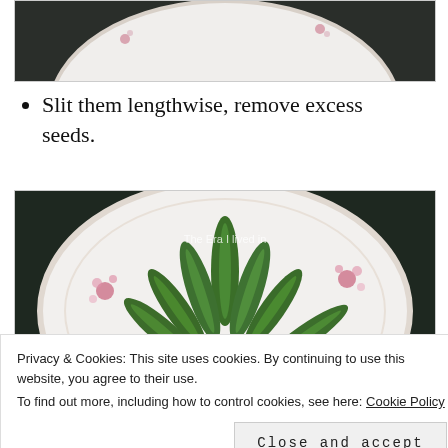[Figure (photo): Top portion of a plate on a dark background, partially cropped]
Slit them lengthwise, remove excess seeds.
[Figure (photo): White floral plate with slit green chilies/okra arranged in a fan pattern on a dark background. Text overlay reads 'The Era I lived in']
Privacy & Cookies: This site uses cookies. By continuing to use this website, you agree to their use.
To find out more, including how to control cookies, see here: Cookie Policy
[Figure (photo): Bottom portion of another plate on dark background, partially cropped]